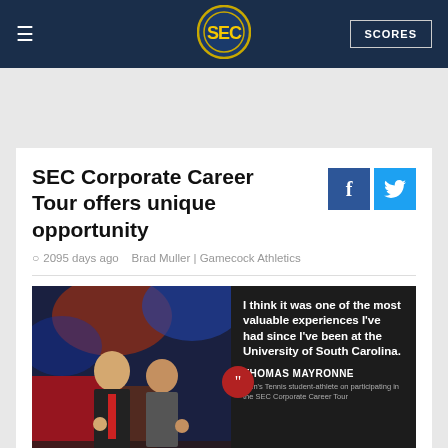SEC
SEC Corporate Career Tour offers unique opportunity
2095 days ago   Brad Muller | Gamecock Athletics
[Figure (photo): Two students posing in a TV studio with a quote overlay: 'I think it was one of the most valuable experiences I've had since I've been at the University of South Carolina.' - Thomas Mayronne, Men's Tennis student-athlete on participating in the SEC Corporate Career Tour]